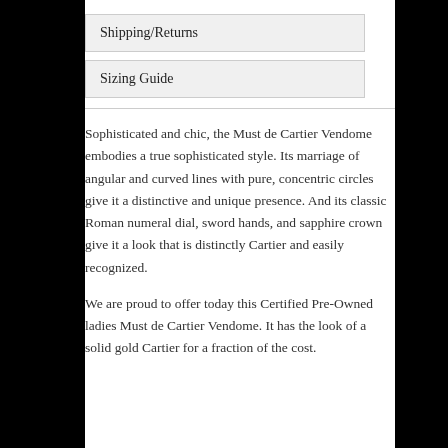Shipping/Returns
Sizing Guide
Sophisticated and chic, the Must de Cartier Vendome embodies a true sophisticated style. Its marriage of angular and curved lines with pure, concentric circles give it a distinctive and unique presence. And its classic Roman numeral dial, sword hands, and sapphire crown give it a look that is distinctly Cartier and easily recognized.
We are proud to offer today this Certified Pre-Owned ladies Must de Cartier Vendome. It has the look of a solid gold Cartier for a fraction of the cost.